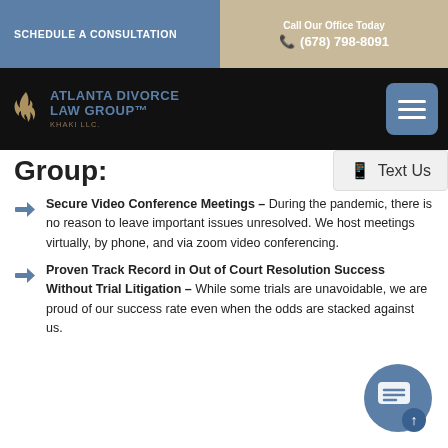SCHEDULE A CONSULTATION | Call Our Office Today (678) 798-8091
[Figure (logo): Atlanta Divorce Law Group Khaki LLC logo with flame icon]
Group:
Secure Video Conference Meetings – During the pandemic, there is no reason to leave important issues unresolved. We host meetings virtually, by phone, and via zoom video conferencing.
Proven Track Record in Out of Court Resolution Success Without Trial Litigation – While some trials are unavoidable, we are proud of our success rate even when the odds are stacked against us.